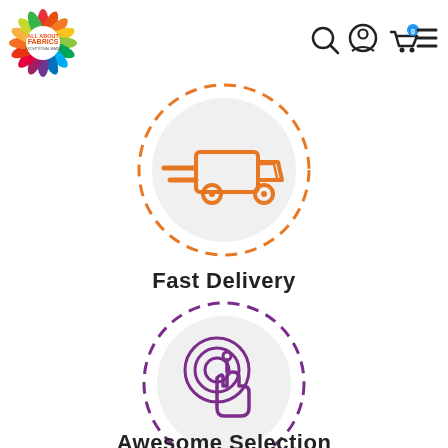[Figure (logo): All About Fabrics colorful starburst logo in top left corner]
[Figure (infographic): Navigation icons: search magnifying glass, user account circle, shopping cart with 0 badge, hamburger menu]
[Figure (illustration): Fast delivery icon: orange dashed circle border with gray inner circle, orange delivery truck with speed lines]
Fast Delivery
[Figure (illustration): Awesome selection icon: purple dashed circle border with gray inner circle, purple hand clicking/touching icon]
Awesome Selection